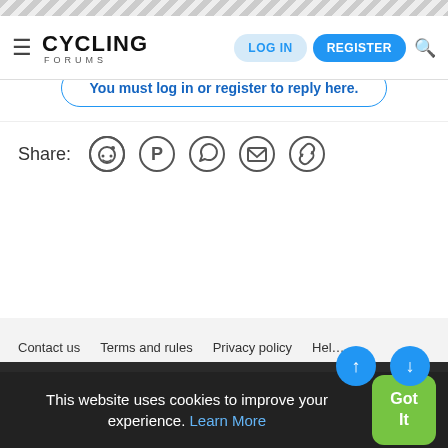[Figure (screenshot): Decorative diagonal stripe header bar]
≡  CYCLING FORUMS   LOG IN   REGISTER  🔍
Best Wishes
You must log in or register to reply here.
Share:  [reddit] [pinterest] [whatsapp] [email] [link]
Contact us   Terms and rules   Privacy policy   Help
Community platform by XenForo® © 2010-2022 XenForo Ltd.  |  Style and add-ons by ThemeHouse
This website uses cookies to improve your experience. Learn More